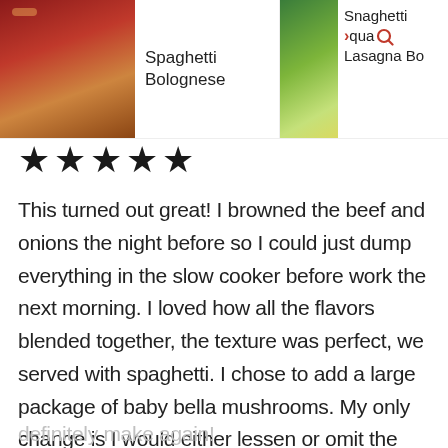[Figure (screenshot): Top navigation bar showing recipe thumbnails: Spaghetti Bolognese, Basil Pesto Chicken Spaghetti, and partially visible Squash Lasagna Bo with a search icon overlay]
[Figure (other): Five filled black star rating icons]
This turned out great! I browned the beef and onions the night before so I could just dump everything in the slow cooker before work the next morning. I loved how all the flavors blended together, the texture was perfect, we served with spaghetti. I chose to add a large package of baby bella mushrooms. My only change is I would either lessen or omit the wine next time, we don't cook with alcohol often and I found the flavor a little overpowering. This was a great weeknight meal, and I will
definitely make again!
23.0k